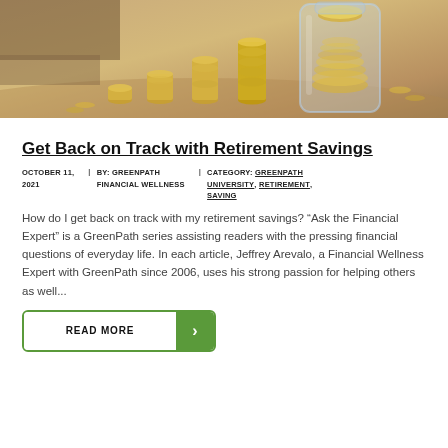[Figure (photo): Hero image showing stacks of coins increasing in height from left to right, with a glass jar full of coins on the right side, suggesting savings growth]
Get Back on Track with Retirement Savings
OCTOBER 11, 2021  |  BY: GREENPATH FINANCIAL WELLNESS  |  CATEGORY: GREENPATH UNIVERSITY, RETIREMENT, SAVING
How do I get back on track with my retirement savings? “Ask the Financial Expert” is a GreenPath series assisting readers with the pressing financial questions of everyday life. In each article, Jeffrey Arevalo, a Financial Wellness Expert with GreenPath since 2006, uses his strong passion for helping others as well...
READ MORE